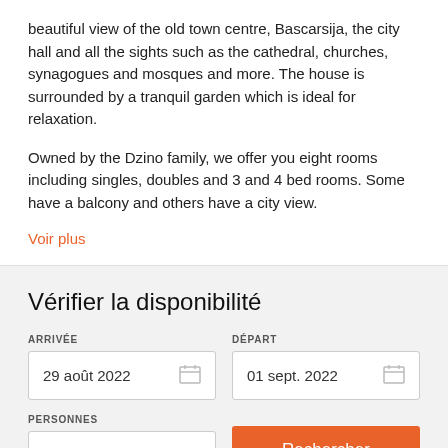beautiful view of the old town centre, Bascarsija, the city hall and all the sights such as the cathedral, churches, synagogues and mosques and more. The house is surrounded by a tranquil garden which is ideal for relaxation.
Owned by the Dzino family, we offer you eight rooms including singles, doubles and 3 and 4 bed rooms. Some have a balcony and others have a city view.
Voir plus
Vérifier la disponibilité
ARRIVÉE
29 août 2022
DÉPART
01 sept. 2022
PERSONNES
2 Personnes
Rechercher